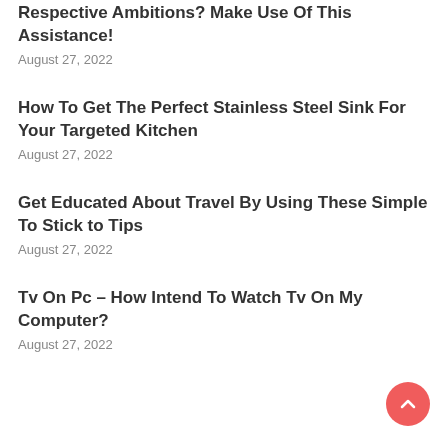Respective Ambitions? Make Use Of This Assistance!
August 27, 2022
How To Get The Perfect Stainless Steel Sink For Your Targeted Kitchen
August 27, 2022
Get Educated About Travel By Using These Simple To Stick to Tips
August 27, 2022
Tv On Pc – How Intend To Watch Tv On My Computer?
August 27, 2022